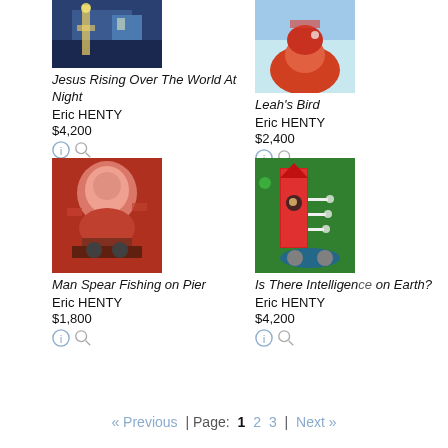[Figure (photo): Painting: Jesus Rising Over The World At Night by Eric HENTY]
Jesus Rising Over The World At Night
Eric HENTY
$4,200
[Figure (photo): Painting: Leah's Bird by Eric HENTY]
Leah's Bird
Eric HENTY
$2,400
[Figure (photo): Painting: Man Spear Fishing on Pier by Eric HENTY]
Man Spear Fishing on Pier
Eric HENTY
$1,800
[Figure (photo): Painting: Is There Intelligence on Earth? by Eric HENTY]
Is There Intelligence on Earth?
Eric HENTY
$4,200
« Previous | Page: 1 2 3 | Next »